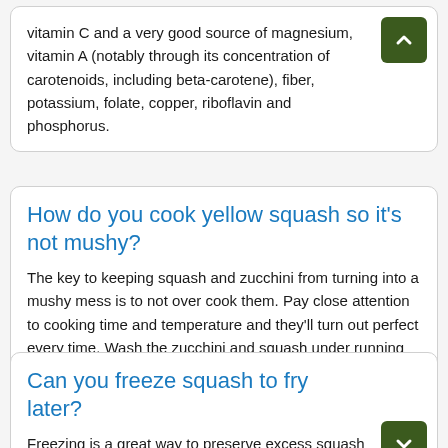vitamin C and a very good source of magnesium, vitamin A (notably through its concentration of carotenoids, including beta-carotene), fiber, potassium, folate, copper, riboflavin and phosphorus.
How do you cook yellow squash so it's not mushy?
The key to keeping squash and zucchini from turning into a mushy mess is to not over cook them. Pay close attention to cooking time and temperature and they'll turn out perfect every time. Wash the zucchini and squash under running water. Cut the stem ends off of each fruit.
Can you freeze squash to fry later?
Freezing is a great way to preserve excess squash when you up growing more than you can eat. Frozen squash can be taken